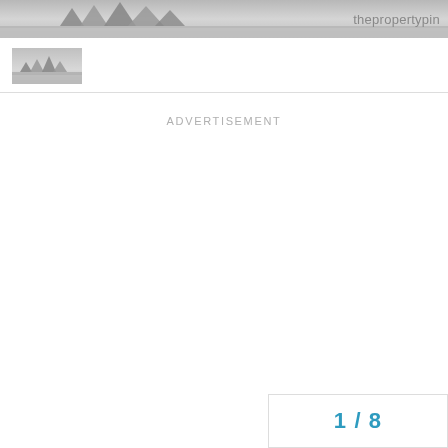thepropertypin
[Figure (logo): Small pyramids/landscape logo image]
ADVERTISEMENT
1 / 8